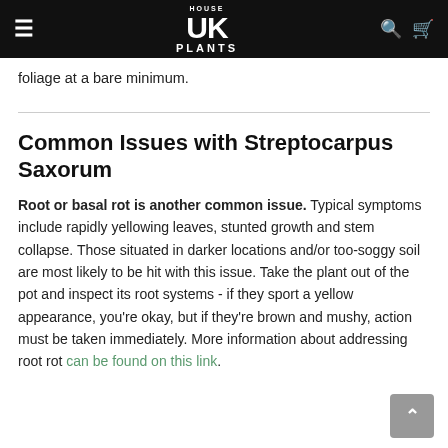HOUSE UK PLANTS
foliage at a bare minimum.
Common Issues with Streptocarpus Saxorum
Root or basal rot is another common issue. Typical symptoms include rapidly yellowing leaves, stunted growth and stem collapse. Those situated in darker locations and/or too-soggy soil are most likely to be hit with this issue. Take the plant out of the pot and inspect its root systems - if they sport a yellow appearance, you're okay, but if they're brown and mushy, action must be taken immediately. More information about addressing root rot can be found on this link.